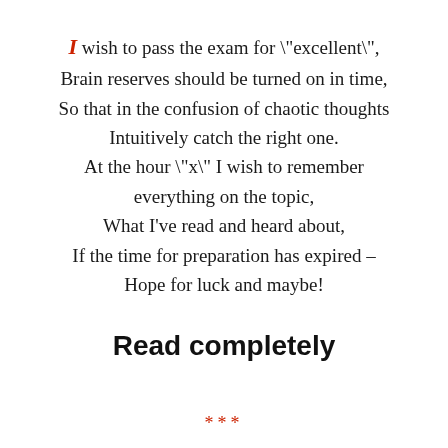I wish to pass the exam for "excellent",
Brain reserves should be turned on in time,
So that in the confusion of chaotic thoughts
Intuitively catch the right one.
At the hour "x" I wish to remember
everything on the topic,
What I've read and heard about,
If the time for preparation has expired –
Hope for luck and maybe!
Read completely
***